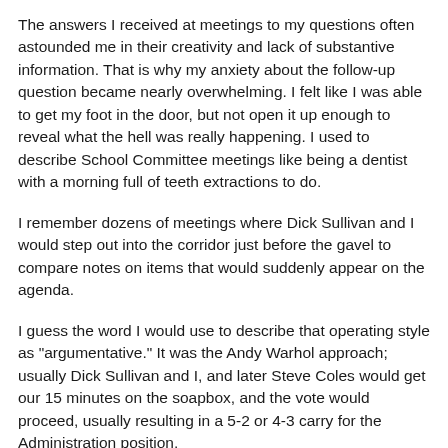The answers I received at meetings to my questions often astounded me in their creativity and lack of substantive information. That is why my anxiety about the follow-up question became nearly overwhelming. I felt like I was able to get my foot in the door, but not open it up enough to reveal what the hell was really happening. I used to describe School Committee meetings like being a dentist with a morning full of teeth extractions to do.
I remember dozens of meetings where Dick Sullivan and I would step out into the corridor just before the gavel to compare notes on items that would suddenly appear on the agenda.
I guess the word I would use to describe that operating style as "argumentative." It was the Andy Warhol approach; usually Dick Sullivan and I, and later Steve Coles would get our 15 minutes on the soapbox, and the vote would proceed, usually resulting in a 5-2 or 4-3 carry for the Administration position.
The School Committee is now a deliberative body. We